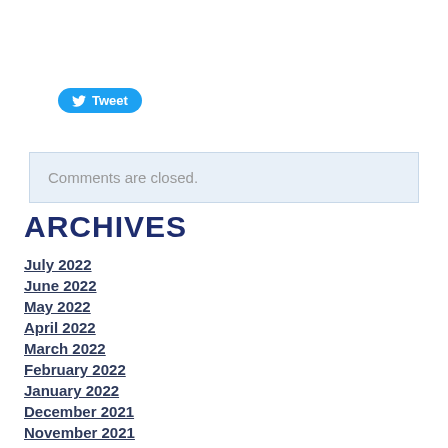[Figure (other): Twitter Tweet button with bird icon]
Comments are closed.
ARCHIVES
July 2022
June 2022
May 2022
April 2022
March 2022
February 2022
January 2022
December 2021
November 2021